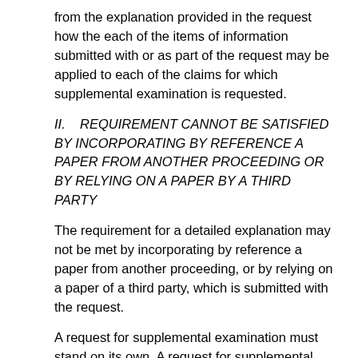from the explanation provided in the request how the each of the items of information submitted with or as part of the request may be applied to each of the claims for which supplemental examination is requested.
II.    REQUIREMENT CANNOT BE SATISFIED BY INCORPORATING BY REFERENCE A PAPER FROM ANOTHER PROCEEDING OR BY RELYING ON A PAPER BY A THIRD PARTY
The requirement for a detailed explanation may not be met by incorporating by reference a paper from another proceeding, or by relying on a paper of a third party, which is submitted with the request.
A request for supplemental examination must stand on its own. A request for supplemental examination cannot be made, and the requirements for a detailed explanation pursuant to 37 CFR 1.610(b)(5) cannot be satisfied, by incorporating by reference a paper from another proceeding. A paper filed in another proceeding must